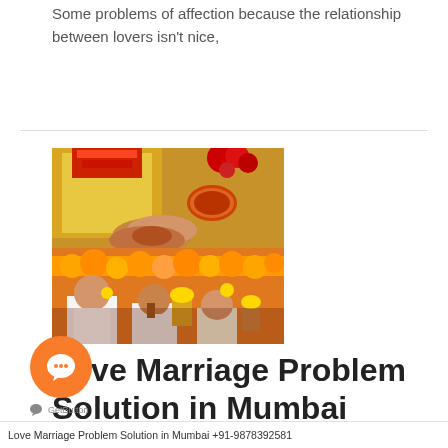Some problems of affection because the relationship between lovers isn't nice,
[Figure (photo): Indian wedding ceremony photo showing bride and groom hands during ritual, with marigold flowers and traditional decorations, people seated around sacred fire]
Love Marriage Problem Solution in Mumbai
Leave a Comment / New Post 5 / By admin
Love Marriage Problem Solution in Mumbai +91-9878392581